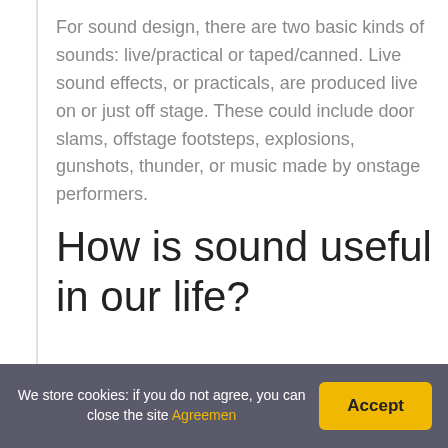For sound design, there are two basic kinds of sounds: live/practical or taped/canned. Live sound effects, or practicals, are produced live on or just off stage. These could include door slams, offstage footsteps, explosions, gunshots, thunder, or music made by onstage performers.
How is sound useful in our life?
It helps us to communicate with others. By sound, we can understand the context of the words spoken. Sound can help people to protect themselves from danger such as the sound or horn of the train and other vehicles warn people to give way etc. Without a sound, we would
We store cookies: if you do not agree, you can close the site Agreemen